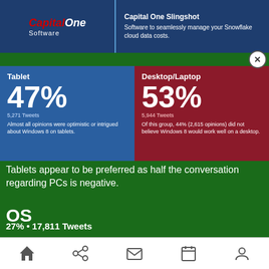[Figure (infographic): Capital One Slingshot advertisement banner with logo on left and description on right]
Capital One Slingshot - Software to seamlessly manage your Snowflake cloud data costs.
[Figure (infographic): Two-panel stat box: Tablet 47% (5,271 Tweets) Almost all opinions were optimistic or intrigued about Windows 8 on tablets. | Desktop/Laptop 53% (5,944 Tweets) Of this group, 44% (2,615 opinions) did not believe Windows 8 would work well on a desktop.]
Tablets appear to be preferred as half the conversation regarding PCs is negative.
OS
27% • 17,811 Tweets
[Figure (infographic): OS comparison: 59% (10,508 Tweets) Comparing Windows 8 and iPad/iOS | 41% (7,303 Tweets) Comparing Windows 8 and Android]
[Figure (infographic): Windows 8 better than iOS 63% | iOS is better 37% | Almost all the conversation favored Windows 8 over Android]
The tablet friendly Metro UI is being favorably